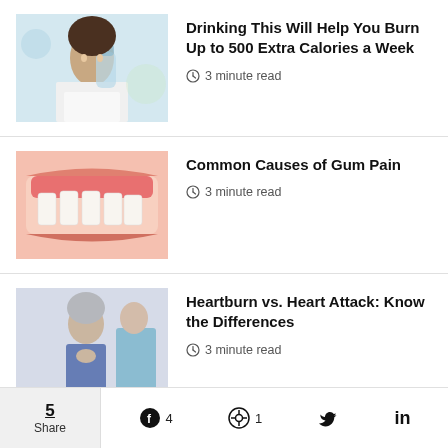[Figure (photo): Woman drinking water from a bottle outdoors]
Drinking This Will Help You Burn Up to 500 Extra Calories a Week
3 minute read
[Figure (photo): Close-up of mouth/gums showing gum pain]
Common Causes of Gum Pain
3 minute read
[Figure (photo): Older man holding chest with doctor in background]
Heartburn vs. Heart Attack: Know the Differences
3 minute read
RELATED POSTS
5 Share
4
1